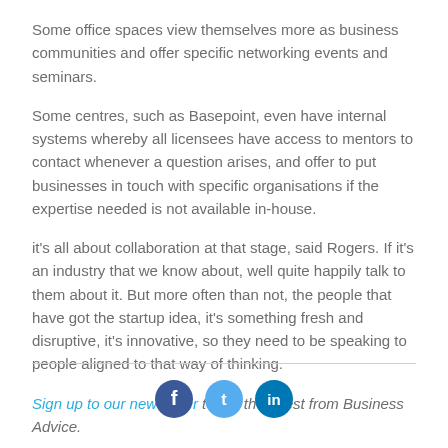Some office spaces view themselves more as business communities and offer specific networking events and seminars.
Some centres, such as Basepoint, even have internal systems whereby all licensees have access to mentors to contact whenever a question arises, and offer to put businesses in touch with specific organisations if the expertise needed is not available in-house.
it's all about collaboration at that stage, said Rogers. If it's an industry that we know about, well quite happily talk to them about it. But more often than not, the people that have got the startup idea, it's something fresh and disruptive, it's innovative, so they need to be speaking to people aligned to that way of thinking.
Sign up to our newsletter to get the latest from Business Advice.
[Figure (other): Social media icons at the bottom of the page]